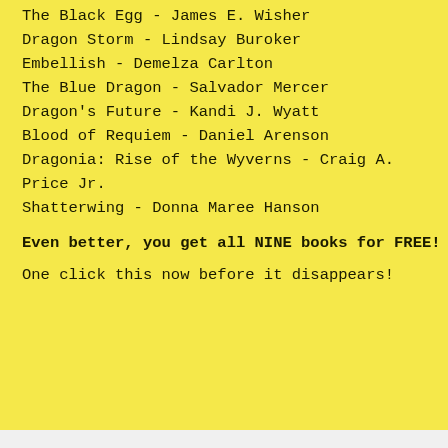The Black Egg - James E. Wisher
Dragon Storm - Lindsay Buroker
Embellish - Demelza Carlton
The Blue Dragon - Salvador Mercer
Dragon's Future - Kandi J. Wyatt
Blood of Requiem - Daniel Arenson
Dragonia: Rise of the Wyverns - Craig A. Price Jr.
Shatterwing - Donna Maree Hanson
Even better, you get all NINE books for FREE!
One click this now before it disappears!